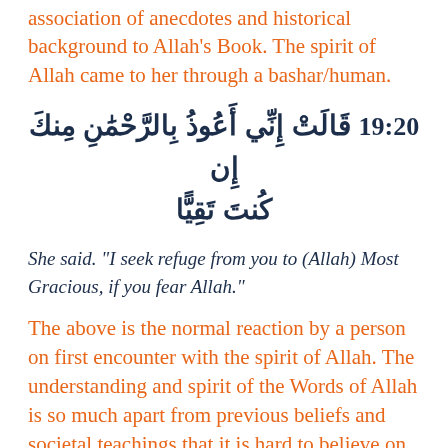association of anecdotes and historical background to Allah's Book. The spirit of Allah came to her through a bashar/human.
19:20 قَالَتْ إِنِّي أَعُوذُ بِالرَّحْمَٰنِ مِنكَ إِن كُنتَ تَقِيًّا
She said. "I seek refuge from you to (Allah) Most Gracious, if you fear Allah."
The above is the normal reaction by a person on first encounter with the spirit of Allah. The understanding and spirit of the Words of Allah is so much apart from previous beliefs and societal teachings that it is hard to believe on them and people ask Allah's refuge.